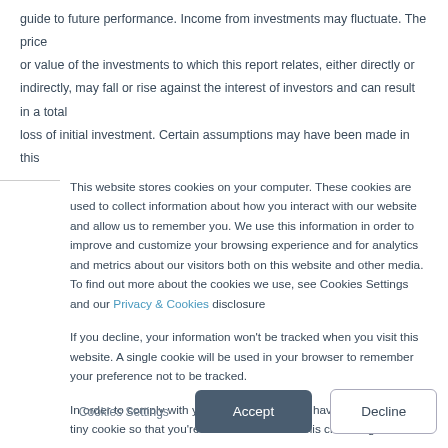guide to future performance. Income from investments may fluctuate. The price or value of the investments to which this report relates, either directly or indirectly, may fall or rise against the interest of investors and can result in a total loss of initial investment. Certain assumptions may have been made in this
This website stores cookies on your computer. These cookies are used to collect information about how you interact with our website and allow us to remember you. We use this information in order to improve and customize your browsing experience and for analytics and metrics about our visitors both on this website and other media. To find out more about the cookies we use, see Cookies Settings and our Privacy & Cookies disclosure
If you decline, your information won’t be tracked when you visit this website. A single cookie will be used in your browser to remember your preference not to be tracked.
In order to comply with your preferences, we’ll have to use just one tiny cookie so that you’re not asked to make this choice again.
Cookies Settings | Accept | Decline